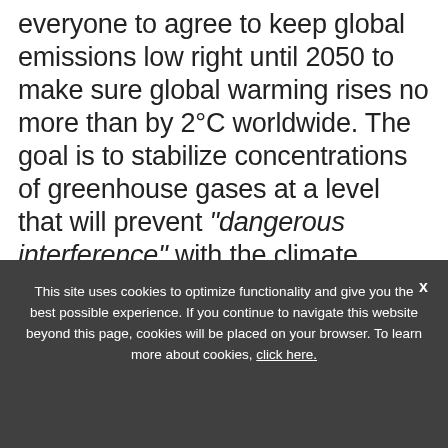everyone to agree to keep global emissions low right until 2050 to make sure global warming rises no more than by 2°C worldwide. The goal is to stabilize concentrations of greenhouse gases at a level that will prevent "dangerous interference" with the climate system.
This site uses cookies to optimize functionality and give you the best possible experience. If you continue to navigate this website beyond this page, cookies will be placed on your browser. To learn more about cookies, click here.
Countries have agreed to submit targets to limit ... is referred to as the Intended Nationally